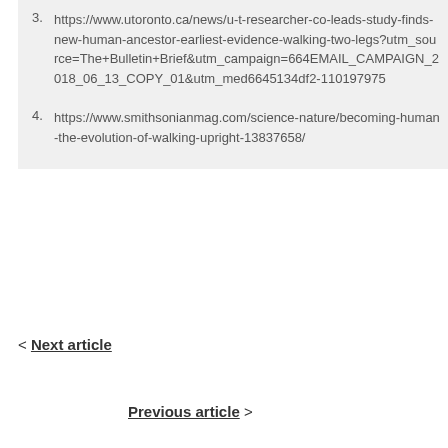3. https://www.utoronto.ca/news/u-t-researcher-co-leads-study-finds-new-human-ancestor-earliest-evidence-walking-two-legs?utm_source=The+Bulletin+Brief&utm_campaign=664EMAIL_CAMPAIGN_2018_06_13_COPY_01&utm_med6645134df2-110197975
4. https://www.smithsonianmag.com/science-nature/becoming-human-the-evolution-of-walking-upright-13837658/
< Next article
Previous article >